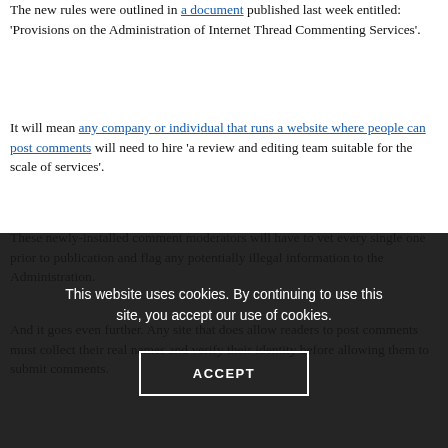The new rules were outlined in a document published last week entitled: 'Provisions on the Administration of Internet Thread Commenting Services'.
It will mean any company or individual that runs a website where people can post comments will need to hire 'a review and editing team suitable for the scale of services'.
These newly-installed comment moderators will have to vet every single one prior to publication and flag any potentially illegal information to the Administration.
And it goes even further. Any site that does allow readers to post comments must collect their real names and verify their identity before allowing them to submit comments.
[Figure (screenshot): Cookie consent overlay on dark background with text: 'This website uses cookies. By continuing to use this site, you accept our use of cookies.' and an ACCEPT button.]